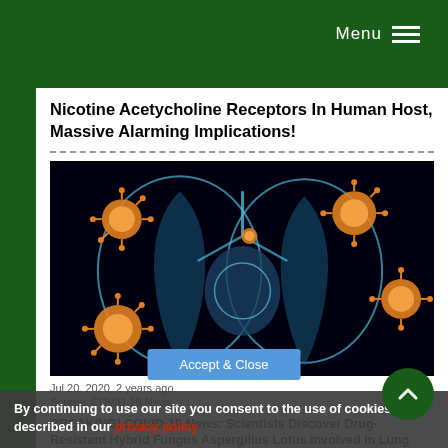Menu
Nicotine Acetycholine Receptors In Human Host, Massive Alarming Implications!
[Figure (photo): Medical illustration of human lungs and heart on dark background with orange coronavirus particles/virus spheres floating around them]
Jul 20, 2020  2 years ago
Source: COVID-19 News
BREAKING! COVID-19 News: Scientists Discover Drug-Resistant Hybrid Fungus Aspergillus Lotus Involved In Lung Infections Of Corona…
By continuing to use our site you consent to the use of cookies as described in our privacy policy